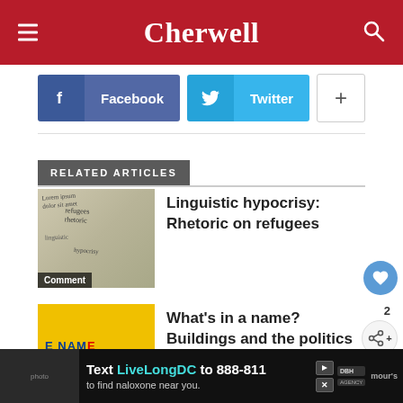Cherwell
[Figure (screenshot): Social sharing buttons: Facebook, Twitter, and a plus button]
RELATED ARTICLES
[Figure (photo): Thumbnail image for article about linguistic hypocrisy, labeled Comment]
Linguistic hypocrisy: Rhetoric on refugees
[Figure (photo): Thumbnail image for article about building names, labeled Features, yellow background with NAME text]
What's in a name? Buildings and the politics of nomenclature
[Figure (screenshot): Advertisement: Text LiveLongDC to 888-811 to find naloxone near you.]